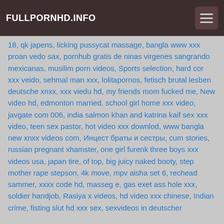FULLPORNHD.INFO
18, qk japens, licking pussycat massage, bangla www xxx proan vedo sax, pornhub gratis de ninas virgenes sangrando mexicanas, musilim porn videos, Sports selection, hard cor xxx veido, sehmal man xxx, lolitapornos, fetisch brutal lesben deutsche xnxx, xxx viedu hd, my friends mom fucked me, New video hd, edmonton married, school girl home xxx video, javgate com 006, india salmon khan and katrina kaif sex xxx video, teen sex pastor, hot video xxx downlod, www bangla new xnxx videos com, Инцест браты и сестры, cum stories, russian pregnant xhamster, one girl furenk three boys xxx videos usa, japan tire, of top, big juicy naked booty, step mother rape stepson, 4k move, mpv aisha set 6, rechead sammer, xxxx code hd, masseg e, gas exet ass hole xxx, soldier handjob, Rasiya x videos, hd video xxx chinese, Indian crime, fisting slut hd xxx sex, sexvideos in deutscher